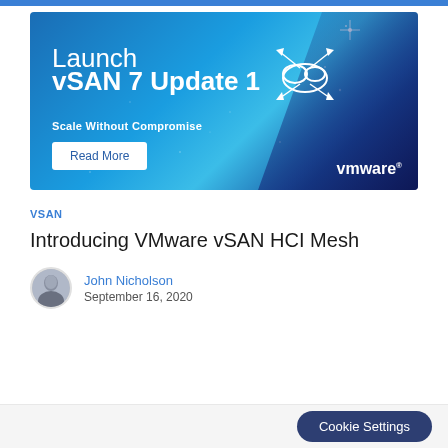[Figure (illustration): VMware vSAN 7 Update 1 banner advertisement with blue gradient background, cloud network icon, text 'Launch vSAN 7 Update 1 Scale Without Compromise', a Read More button, and VMware logo]
vSAN
Introducing VMware vSAN HCI Mesh
John Nicholson
September 16, 2020
Cookie Settings